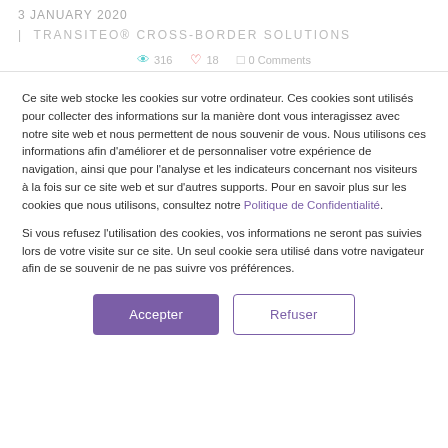3 JANUARY 2020
| TRANSITEO® CROSS-BORDER SOLUTIONS
👁 316   ♡ 18   □ 0 Comments
Ce site web stocke les cookies sur votre ordinateur. Ces cookies sont utilisés pour collecter des informations sur la manière dont vous interagissez avec notre site web et nous permettent de nous souvenir de vous. Nous utilisons ces informations afin d'améliorer et de personnaliser votre expérience de navigation, ainsi que pour l'analyse et les indicateurs concernant nos visiteurs à la fois sur ce site web et sur d'autres supports. Pour en savoir plus sur les cookies que nous utilisons, consultez notre Politique de Confidentialité.
Si vous refusez l'utilisation des cookies, vos informations ne seront pas suivies lors de votre visite sur ce site. Un seul cookie sera utilisé dans votre navigateur afin de se souvenir de ne pas suivre vos préférences.
Accepter | Refuser